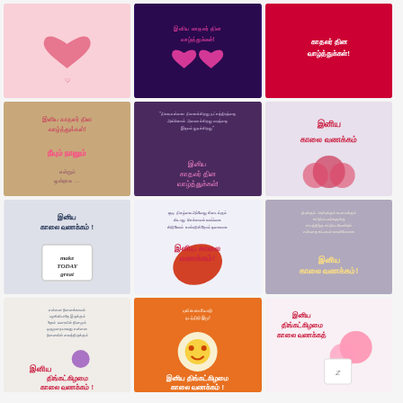[Figure (photo): Grid of Tamil greeting card images with text in Tamil script. Row 1: pink heart card, purple Valentine's Day greeting, red Valentine's greeting. Row 2: wooden hearts with Tamil love text, hands with rings Valentine card, red roses morning greeting. Row 3: coffee mug 'make today great' with Tamil morning greeting, red leaf with Tamil morning greeting, jewelry with Tamil morning greeting. Row 4: purple flower notebook Tamil Monday morning greeting, orange daisy face Tamil Monday greeting, pink flowers mug Tamil Monday greeting. Bottom row partially visible.]